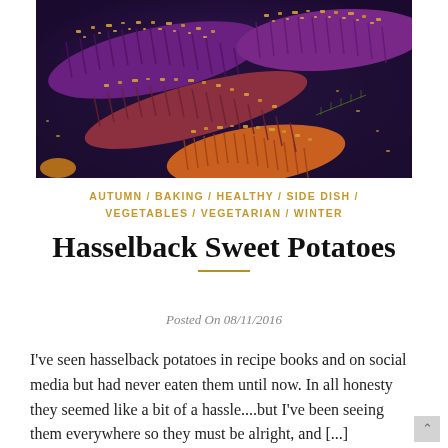[Figure (photo): Close-up photo of hasselback sweet potatoes with golden breadcrumb topping, showing sliced purple and orange sweet potatoes on a dark baking tray]
AUTUMN / BAKING / HEALTHY / SIDE DISH / VEGETABLES / VEGETARIAN / WINTER
Hasselback Sweet Potatoes
Posted On 08/11/2016
I've seen hasselback potatoes in recipe books and on social media but had never eaten them until now. In all honesty they seemed like a bit of a hassle....but I've been seeing them everywhere so they must be alright, and [...]